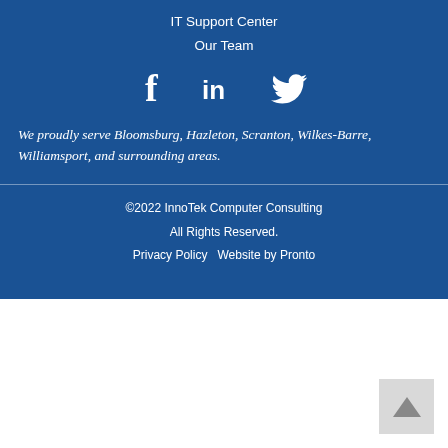IT Support Center
Our Team
[Figure (infographic): Social media icons: Facebook, LinkedIn, Twitter (white icons on blue background)]
We proudly serve Bloomsburg, Hazleton, Scranton, Wilkes-Barre, Williamsport, and surrounding areas.
©2022 InnoTek Computer Consulting
All Rights Reserved.
Privacy Policy  Website by Pronto